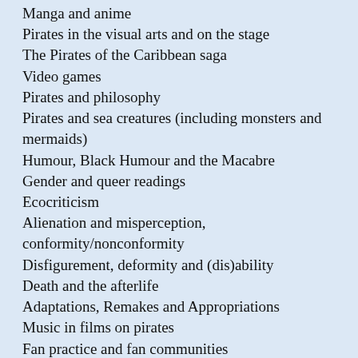Manga and anime
Pirates in the visual arts and on the stage
The Pirates of the Caribbean saga
Video games
Pirates and philosophy
Pirates and sea creatures (including monsters and mermaids)
Humour, Black Humour and the Macabre
Gender and queer readings
Ecocriticism
Alienation and misperception, conformity/nonconformity
Disfigurement, deformity and (dis)ability
Death and the afterlife
Adaptations, Remakes and Appropriations
Music in films on pirates
Fan practice and fan communities
The anthology will be organized into thematic sections around these topics and others that emerge from submissions. We are open to works that focus